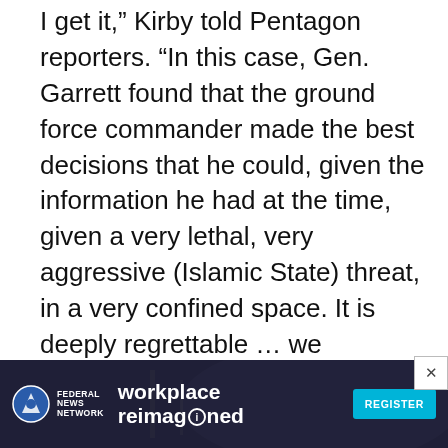I get it,” Kirby told Pentagon reporters. “In this case, Gen. Garrett found that the ground force commander made the best decisions that he could, given the information he had at the time, given a very lethal, very aggressive (Islamic State) threat, in a very confined space. It is deeply regrettable … we apologize for the loss of innocent life.”
Garrett, in an unclassified summary of his report, said that the ground force commander “did not deliberately or with wanton disregard cause civilian casualties.” He said the decision to strike was necessary to defend the Syrian Democratic [Forces and the commander was unable] to distin[guish...]
[Figure (other): Advertisement banner for Federal News Network 'workplace reimagined' event with a REGISTER button, overlaid at the bottom of the page. Dark background with people in background.]